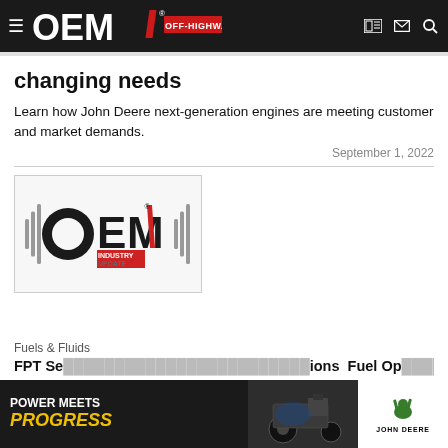OEM OFF-HIGHWAY
changing needs
Learn how John Deere next-generation engines are meeting customer and market demands.
September 1, 2022
[Figure (logo): OEM Industry Update logo — stylized OEM text with sound waves and red accent, INDUSTRY UPDATE text in red/grey]
Fuels & Fluids
FPT Se... ions Fuel Op...
[Figure (infographic): John Deere advertisement banner: POWER MEETS PROGRESS with yellow italic text, machinery image center, John Deere logo on white right panel]